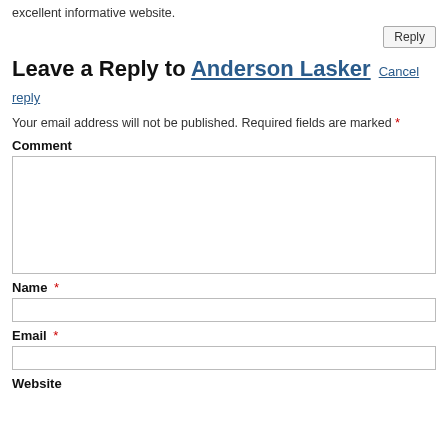excellent informative website.
Reply
Leave a Reply to Anderson Lasker Cancel reply
Your email address will not be published. Required fields are marked *
Comment
Name *
Email *
Website